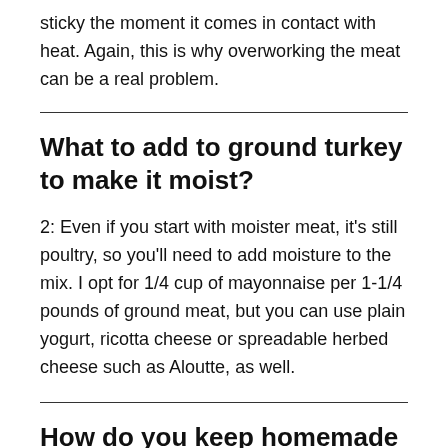sticky the moment it comes in contact with heat. Again, this is why overworking the meat can be a real problem.
What to add to ground turkey to make it moist?
2: Even if you start with moister meat, it's still poultry, so you'll need to add moisture to the mix. I opt for 1/4 cup of mayonnaise per 1-1/4 pounds of ground meat, but you can use plain yogurt, ricotta cheese or spreadable herbed cheese such as Aloutte, as well.
How do you keep homemade